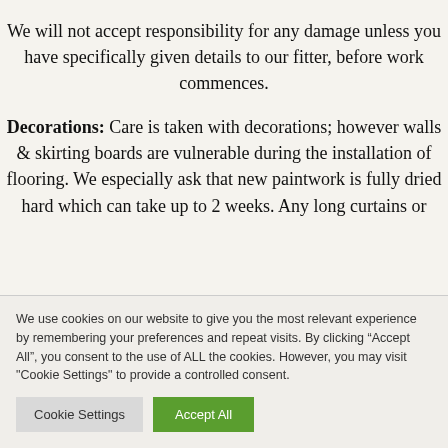We will not accept responsibility for any damage unless you have specifically given details to our fitter, before work commences.
Decorations: Care is taken with decorations; however walls & skirting boards are vulnerable during the installation of flooring. We especially ask that new paintwork is fully dried hard which can take up to 2 weeks. Any long curtains or
We use cookies on our website to give you the most relevant experience by remembering your preferences and repeat visits. By clicking “Accept All”, you consent to the use of ALL the cookies. However, you may visit "Cookie Settings" to provide a controlled consent.